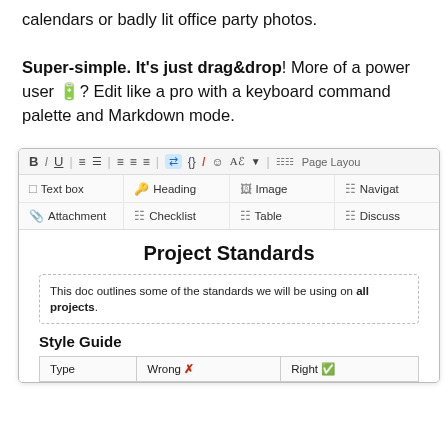calendars or badly lit office party photos. Super-simple. It's just drag&drop! More of a power user 🔋? Edit like a pro with a keyboard command palette and Markdown mode.
[Figure (screenshot): Screenshot of a document editor interface showing a formatting toolbar with B, I, U, list, alignment, link, code, subscript, emoji, and Page Layout buttons; an insert row with Text box, Heading, Image, Navigate, Attachment, Checklist, Table, Discuss options; and a document titled 'Project Standards' with a dashed callout box saying 'This doc outlines some of the standards we will be using on all projects.' followed by a 'Style Guide' section heading and a table with columns Type, Wrong X, Right checkmark.]